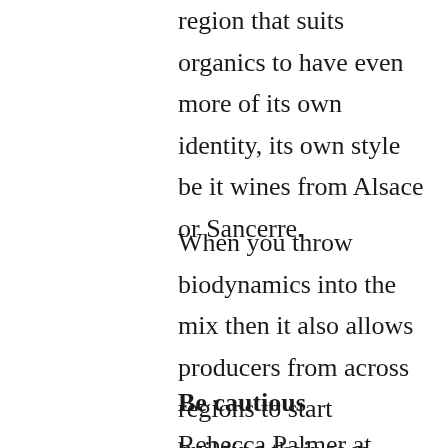region that suits organics to have even more of its own identity, its own style be it wines from Alsace or Sancerre.
When you throw biodynamics into the mix then it also allows producers from across regions to start building their own communities, through their shared experiences of winemaking.
Be cautious
Rebecca Palmer at Corney & Barrow